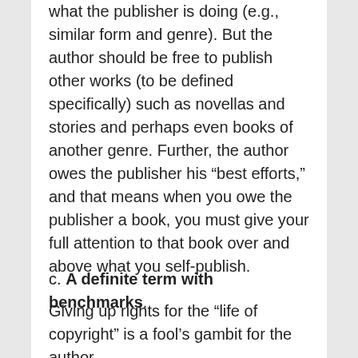what the publisher is doing (e.g., similar form and genre). But the author should be free to publish other works (to be defined specifically) such as novellas and stories and perhaps even books of another genre. Further, the author owes the publisher his “best efforts,” and that means when you owe the publisher a book, you must give your full attention to that book over and above what you self-publish.
c. A definite term with benchmarks.
Giving up rights for the “life of copyright” is a fool’s gambit for the author.